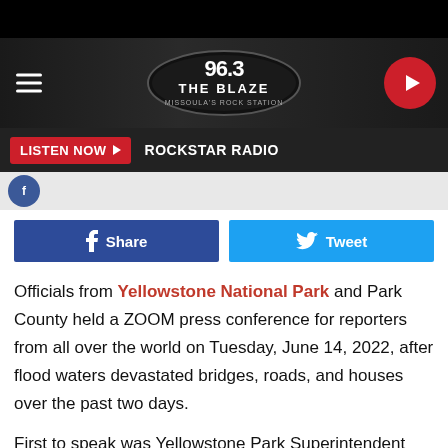[Figure (screenshot): 96.3 The Blaze radio station logo — oval badge with stylized text on dark background]
LISTEN NOW ▶   ROCKSTAR RADIO
[Figure (screenshot): Facebook Share button (blue) and Twitter Tweet button (light blue) side by side]
Officials from Yellowstone National Park and Park County held a ZOOM press conference for reporters from all over the world on Tuesday, June 14, 2022, after flood waters devastated bridges, roads, and houses over the past two days.
First to speak was Yellowstone Park Superintendent Cam Sholly, who provided a brief overview of the current situation in the park.